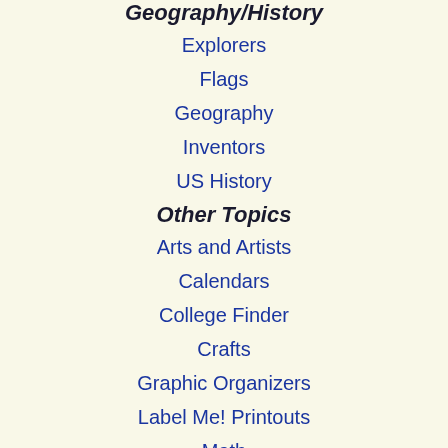Geography/History
Explorers
Flags
Geography
Inventors
US History
Other Topics
Arts and Artists
Calendars
College Finder
Crafts
Graphic Organizers
Label Me! Printouts
Math
Music